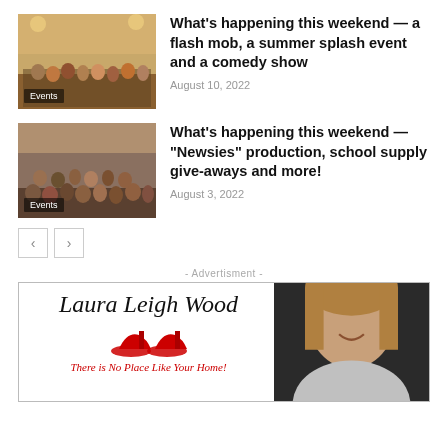[Figure (photo): Top partial thumbnail of group photo with Events label, cropped at top of page]
[Figure (photo): Group photo of people in a venue with Events label]
What’s happening this weekend — a flash mob, a summer splash event and a comedy show
August 10, 2022
[Figure (photo): Group photo of people seated and standing in a venue with Events label]
What’s happening this weekend — “Newsies” production, school supply give-aways and more!
August 3, 2022
‹  ›
- Advertisment -
[Figure (illustration): Advertisement banner for Laura Leigh Wood with name in italic script font, red high heels illustration, tagline in red italic text, and a photo of a woman on the right side]